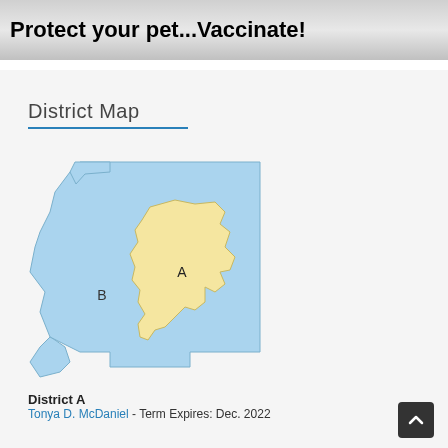[Figure (illustration): Banner image with metallic/silver background and bold black text reading 'Protect your pet...Vaccinate!']
District Map
[Figure (map): District map showing two districts: District A (yellow/tan shaded region in center-right) and District B (light blue shaded outer region). Labels 'A' and 'B' are placed within their respective district areas.]
District A
Tonya D. McDaniel - Term Expires: Dec. 2022